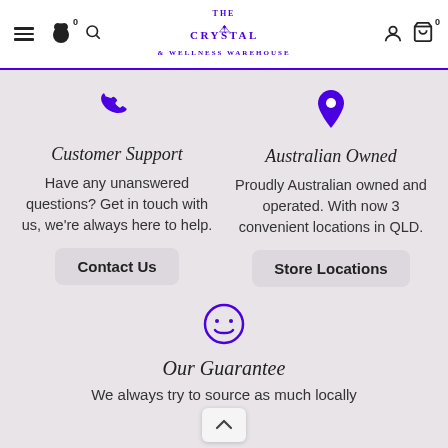The Crystal & Wellness Warehouse
[Figure (illustration): Phone icon (customer support) - purple]
Customer Support
Have any unanswered questions? Get in touch with us, we're always here to help.
Contact Us
[Figure (illustration): Map pin / location icon - purple]
Australian Owned
Proudly Australian owned and operated. With now 3 convenient locations in QLD.
Store Locations
[Figure (illustration): Smiley face icon - purple outline]
Our Guarantee
We always try to source as much locally